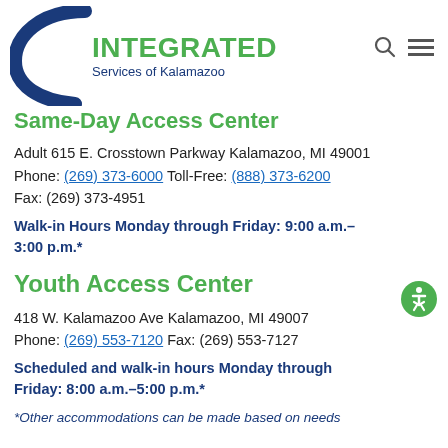[Figure (logo): Integrated Services of Kalamazoo logo with dark blue arc/bracket shape and green INTEGRATED text with blue Services of Kalamazoo subtext]
Same-Day Access Center
Adult 615 E. Crosstown Parkway Kalamazoo, MI 49001
Phone: (269) 373-6000 Toll-Free: (888) 373-6200
Fax: (269) 373-4951
Walk-in Hours Monday through Friday: 9:00 a.m.–3:00 p.m.*
Youth Access Center
418 W. Kalamazoo Ave Kalamazoo, MI 49007
Phone: (269) 553-7120 Fax: (269) 553-7127
Scheduled and walk-in hours Monday through Friday: 8:00 a.m.–5:00 p.m.*
*Other accommodations can be made based on needs